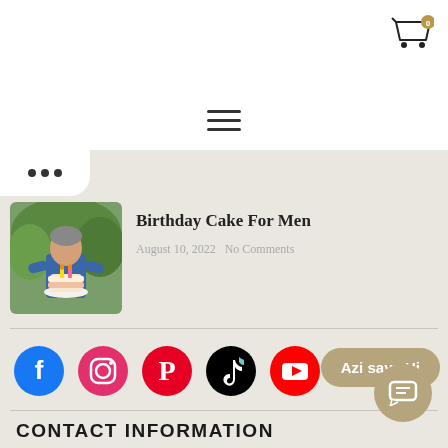[Figure (illustration): Shopping cart icon with badge showing 0]
[Figure (illustration): Hamburger menu icon (three horizontal lines)]
[Figure (illustration): Ellipsis speech bubble (three dots)]
[Figure (photo): Thumbnail photo of a man holding a birthday cake outdoors]
Birthday Cake For Men
August 10, 2022  No Comments
[Figure (illustration): Social media icons row: Facebook, Instagram, Pinterest, TikTok, YouTube]
[Figure (illustration): Azi says Hi chat bubble button]
[Figure (illustration): Chat/message button icon]
CONTACT INFORMATION